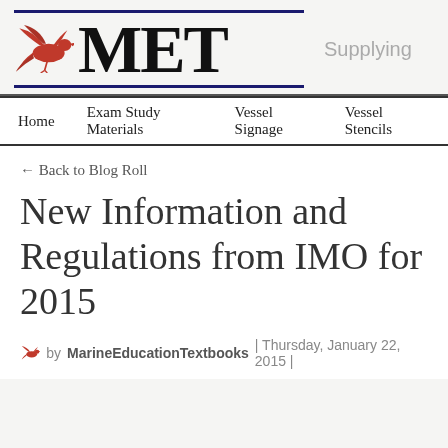[Figure (logo): MET Marine Education Textbooks logo with red pelican/bird icon, large bold MET text between two navy horizontal rules, and 'Supplying' text to the right]
Home | Exam Study Materials | Vessel Signage | Vessel Stencils
← Back to Blog Roll
New Information and Regulations from IMO for 2015
by MarineEducationTextbooks | Thursday, January 22, 2015 |